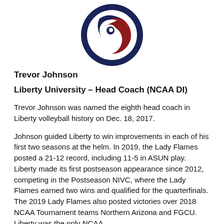[Figure (logo): Liberty University circular logo with blue and red swirl design on white background]
Trevor Johnson
Liberty University – Head Coach (NCAA DI)
Trevor Johnson was named the eighth head coach in Liberty volleyball history on Dec. 18, 2017.
Johnson guided Liberty to win improvements in each of his first two seasons at the helm. In 2019, the Lady Flames posted a 21-12 record, including 11-5 in ASUN play. Liberty made its first postseason appearance since 2012, competing in the Postseason NIVC, where the Lady Flames earned two wins and qualified for the quarterfinals. The 2019 Lady Flames also posted victories over 2018 NCAA Tournament teams Northern Arizona and FGCU. Liberty was the only NCAA